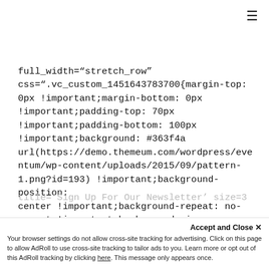≡
full_width="stretch_row" css=".vc_custom_1451643783700{margin-top: 0px !important;margin-bottom: 0px !important;padding-top: 70px !important;padding-bottom: 100px !important;background: #363f4a url(https://demo.themeum.com/wordpress/eventum/wp-content/uploads/2015/09/pattern-1.png?id=193) !important;background-position: center !important;background-repeat: no-repeat !important;background-size: cover !important;}"][vc_column][themeum_title
title='Sign Up For Our Newsletter' size=3
Your browser settings do not allow cross-site tracking for advertising. Click on this page to allow AdRoll to use cross-site tracking to tailor ads to you. Learn more or opt out of this AdRoll tracking by clicking here. This message only appears once.